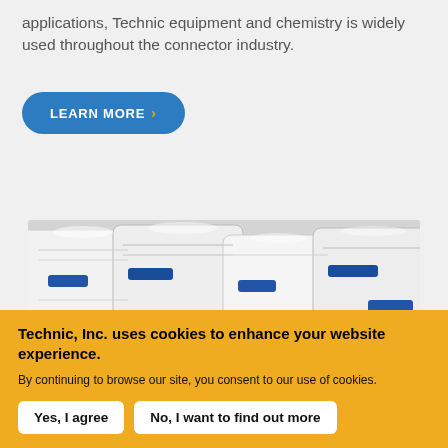applications, Technic equipment and chemistry is widely used throughout the connector industry.
LEARN MORE ›
[Figure (photo): Close-up photo of white industrial containers or cylinders with blue clip/label holders, arranged in a tray or rack.]
Technic, Inc. uses cookies to enhance your website experience.
By continuing to browse our site, you consent to our use of cookies.
Yes, I agree
No, I want to find out more